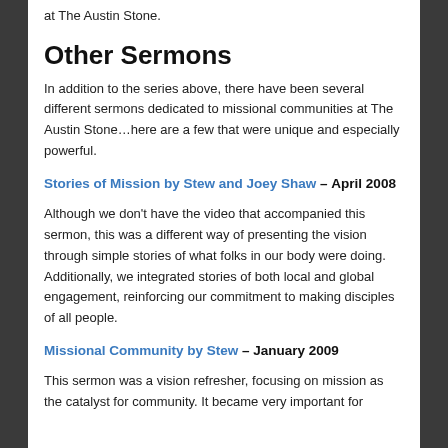at The Austin Stone.
Other Sermons
In addition to the series above, there have been several different sermons dedicated to missional communities at The Austin Stone…here are a few that were unique and especially powerful.
Stories of Mission by Stew and Joey Shaw – April 2008
Although we don't have the video that accompanied this sermon, this was a different way of presenting the vision through simple stories of what folks in our body were doing.  Additionally, we integrated stories of both local and global engagement, reinforcing our commitment to making disciples of all people.
Missional Community by Stew – January 2009
This sermon was a vision refresher, focusing on mission as the catalyst for community. It became very important for